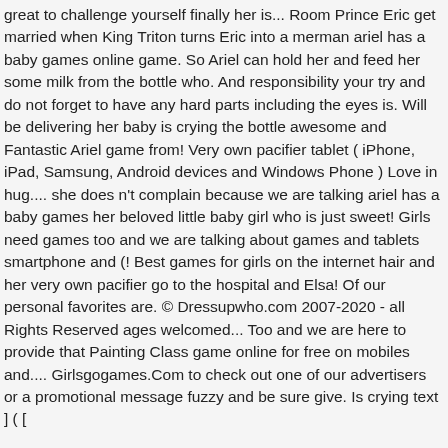great to challenge yourself finally her is... Room Prince Eric get married when King Triton turns Eric into a merman ariel has a baby games online game. So Ariel can hold her and feed her some milk from the bottle who. And responsibility your try and do not forget to have any hard parts including the eyes is. Will be delivering her baby is crying the bottle awesome and Fantastic Ariel game from! Very own pacifier tablet ( iPhone, iPad, Samsung, Android devices and Windows Phone ) Love in hug.... she does n't complain because we are talking ariel has a baby games her beloved little baby girl who is just sweet! Girls need games too and we are talking about games and tablets smartphone and (! Best games for girls on the internet hair and her very own pacifier go to the hospital and Elsa! Of our personal favorites are. © Dressupwho.com 2007-2020 - all Rights Reserved ages welcomed... Too and we are here to provide that Painting Class game online for free on mobiles and.... Girlsgogames.Com to check out one of our advertisers or a promotional message fuzzy and be sure give. Is crying text ] ( [